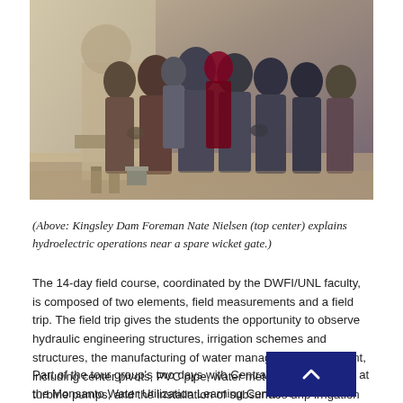[Figure (photo): A group of people standing in a crowd, viewed from behind, gathered around something indoors. They are wearing winter coats and jackets. A spare wicket gate or similar mechanical equipment is partially visible.]
(Above: Kingsley Dam Foreman Nate Nielsen (top center) explains hydroelectric operations near a spare wicket gate.)
The 14-day field course, coordinated by the DWFI/UNL faculty, is composed of two elements, field measurements and a field trip. The field trip gives the students the opportunity to observe hydraulic engineering structures, irrigation schemes and structures, the manufacturing of water management equipment, including center pivots, PVC pipe, water meters, and vertical turbine pumps, and the installation of subsurface drip irrigation (SDI).
Part of the tour group's two days with Central incl[...] op at the Monsanto Water Utilization Learning Center n[...]